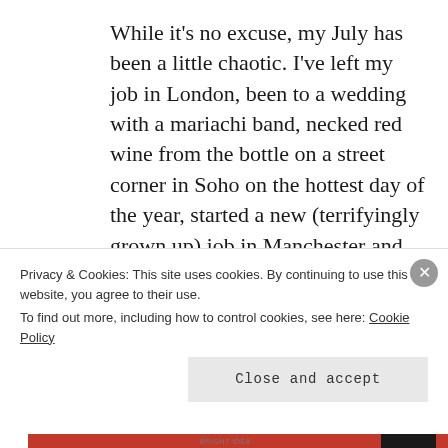While it's no excuse, my July has been a little chaotic. I've left my job in London, been to a wedding with a mariachi band, necked red wine from the bottle on a street corner in Soho on the hottest day of the year, started a new (terrifyingly grown up) job in Manchester and discovered the 'joys' of having to get up at 5.50am every morning and apply eyeliner flicks on a Northern Rail train. TLDR: I'm skint.
Privacy & Cookies: This site uses cookies. By continuing to use this website, you agree to their use.
To find out more, including how to control cookies, see here: Cookie Policy
Close and accept